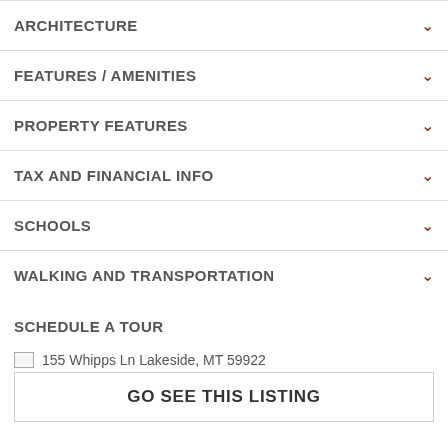ARCHITECTURE
FEATURES / AMENITIES
PROPERTY FEATURES
TAX AND FINANCIAL INFO
SCHOOLS
WALKING AND TRANSPORTATION
SCHEDULE A TOUR
155 Whipps Ln Lakeside, MT 59922
GO SEE THIS LISTING